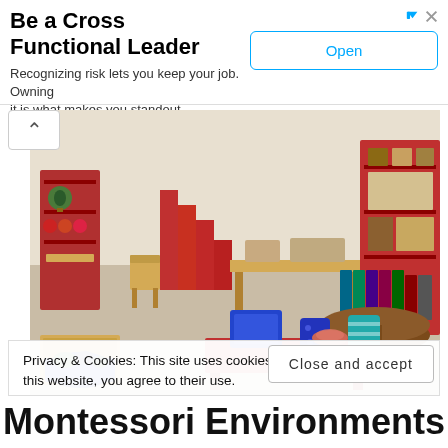[Figure (infographic): Advertisement banner: 'Be a Cross Functional Leader' with text 'Recognizing risk lets you keep your job. Owning it is what makes you standout. LinkSquares' and an 'Open' button]
[Figure (photo): Montessori classroom with wooden shelves, educational materials, colorful bins, globes, and child-sized furniture arranged on a carpeted floor]
Privacy & Cookies: This site uses cookies. By continuing to use this website, you agree to their use.
To find out more, including how to control cookies, see here: Cookie Policy
Close and accept
Montessori Environments